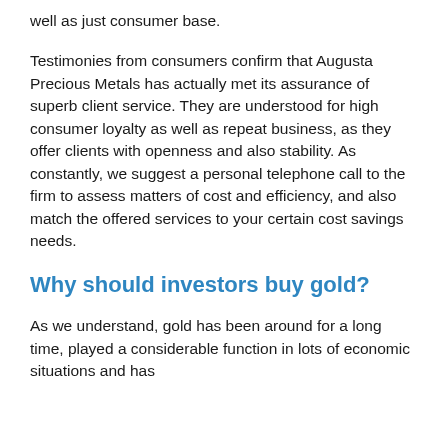well as just consumer base.
Testimonies from consumers confirm that Augusta Precious Metals has actually met its assurance of superb client service. They are understood for high consumer loyalty as well as repeat business, as they offer clients with openness and also stability. As constantly, we suggest a personal telephone call to the firm to assess matters of cost and efficiency, and also match the offered services to your certain cost savings needs.
Why should investors buy gold?
As we understand, gold has been around for a long time, played a considerable function in lots of economic situations and has